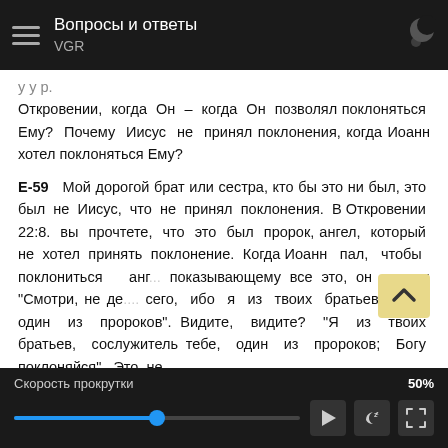Вопросы и ответы
VGR
...Откровении, когда Он – когда Он позволял поклоняться Ему? Почему Иисус не принял поклонения, когда Иоанн хотел поклоняться Ему?
E-59   Мой дорогой брат или сестра, кто бы это ни был, это был не Иисус, что не принял поклонения. В Откровении 22:8. вы прочтете, что это был пророк, ангел, который не хотел принять поклонение. Когда Иоанн пал, чтобы поклониться анг... показывающему все это, он сказал: "Смотри, не де.... сего, ибо я из твоих братьев. Я – один из пророков". Видите, видите? "Я из твоих братьев, сослужитель тебе, один из пророков; Богу поклоняйся". Это не
Скорость прокрутки   50%